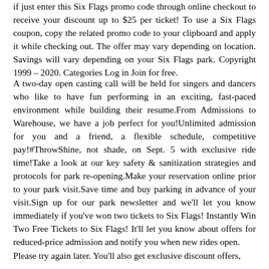if just enter this Six Flags promo code through online checkout to receive your discount up to $25 per ticket! To use a Six Flags coupon, copy the related promo code to your clipboard and apply it while checking out. The offer may vary depending on location. Savings will vary depending on your Six Flags park. Copyright 1999 – 2020. Categories Log in Join for free.
A two-day open casting call will be held for singers and dancers who like to have fun performing in an exciting, fast-paced environment while building their resume.From Admissions to Warehouse, we have a job perfect for you!Unlimited admission for you and a friend, a flexible schedule, competitive pay!#ThrowShine, not shade, on Sept. 5 with exclusive ride time!Take a look at our key safety & sanitization strategies and protocols for park re-opening.Make your reservation online prior to your park visit.Save time and buy parking in advance of your visit.Sign up for our park newsletter and we'll let you know immediately if you've won two tickets to Six Flags! Instantly Win Two Free Tickets to Six Flags! It'll let you know about offers for reduced-price admission and notify you when new rides open.
Please try again later. You'll also get exclusive discount offers,